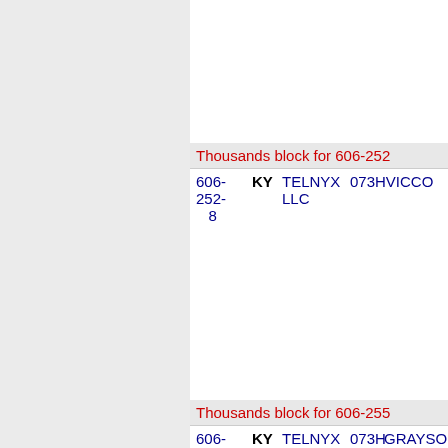| Number | State | Carrier | Code | Location |
| --- | --- | --- | --- | --- |
| 606-252-8 | KY | TELNYX LLC | 073H | VICCO |
Thousands block for 606-252
| Number | State | Carrier | Code | Location |
| --- | --- | --- | --- | --- |
| 606- | KY | TELNYX | 073H | GRAYSON |
Thousands block for 606-255